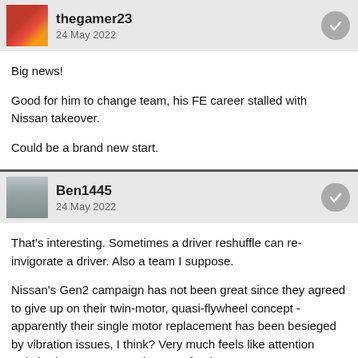thegamer23 · 24 May 2022
Big news!

Good for him to change team, his FE career stalled with Nissan takeover.

Could be a brand new start.
Ben1445 · 24 May 2022
That's interesting. Sometimes a driver reshuffle can re-invigorate a driver. Also a team I suppose.

Nissan's Gen2 campaign has not been great since they agreed to give up on their twin-motor, quasi-flywheel concept - apparently their single motor replacement has been besieged by vibration issues, I think? Very much feels like attention switched to Gen3 some time ago for them.

I think Nissan may want to keep Günther, he's got pace and brains